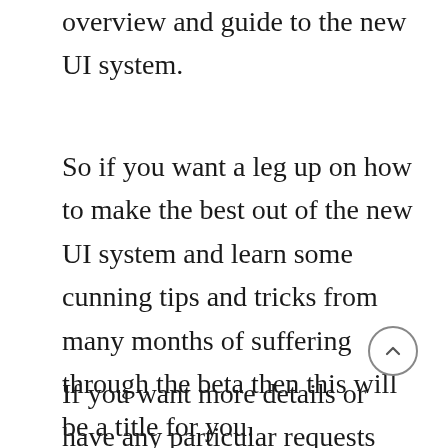overview and guide to the new UI system.
So if you want a leg up on how to make the best out of the new UI system and learn some cunning tips and tricks from many months of suffering through the beta then this will be a title for you.
If you want more details or have any particular requests just let me know, I